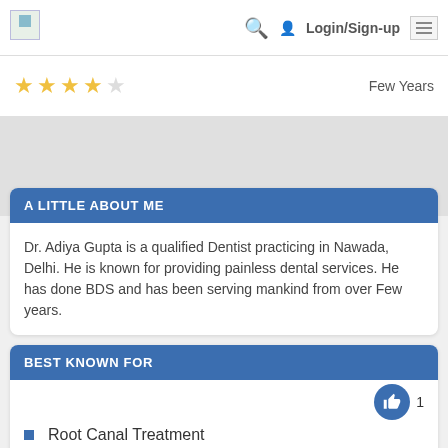Login/Sign-up
[Figure (other): Star rating: 4 out of 5 stars (yellow stars with one empty star)]
Few Years
A LITTLE ABOUT ME
Dr. Adiya Gupta is a qualified Dentist practicing in Nawada, Delhi. He is known for providing painless dental services. He has done BDS and has been serving mankind from over Few years.
BEST KNOWN FOR
Root Canal Treatment
Dental Implants
Crown and Bridges